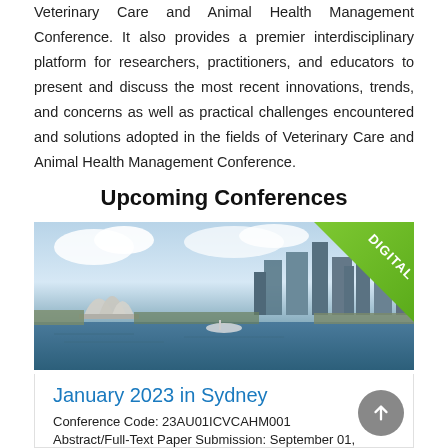Veterinary Care and Animal Health Management Conference. It also provides a premier interdisciplinary platform for researchers, practitioners, and educators to present and discuss the most recent innovations, trends, and concerns as well as practical challenges encountered and solutions adopted in the fields of Veterinary Care and Animal Health Management Conference.
Upcoming Conferences
[Figure (photo): Aerial view of Sydney Harbour with the Sydney Opera House on the left and city skyline in the background, with a green 'DIGITAL' banner ribbon in the top right corner.]
January 2023 in Sydney
Conference Code: 23AU01ICVCAHM001
Abstract/Full-Text Paper Submission: September 01,